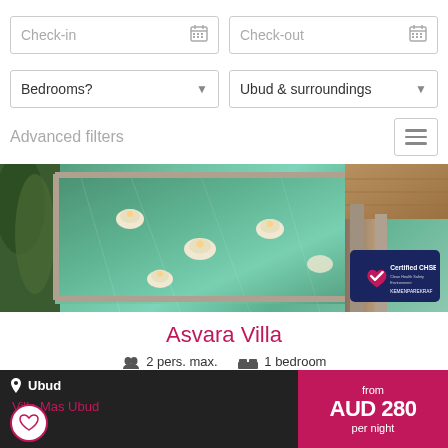Check-in
Check-out
Bedrooms?
Ubud & surroundings
Advanced filters
[Figure (photo): Swimming pool of Asvara Villa with floating candles and decorative elements, viewed from above, surrounded by stone and wood architecture]
Asvara Villa
2 pers. max.  1 bedroom
More details
Ubud
Villa Mas Ubud
from AUD 280 per night